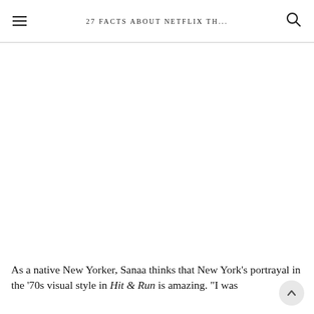27 FACTS ABOUT NETFLIX TH...
[Figure (photo): Large blank/white image area below the header — photo not visible in this crop]
As a native New Yorker, Sanaa thinks that New York's portrayal in the '70s visual style in Hit & Run is amazing. "I was